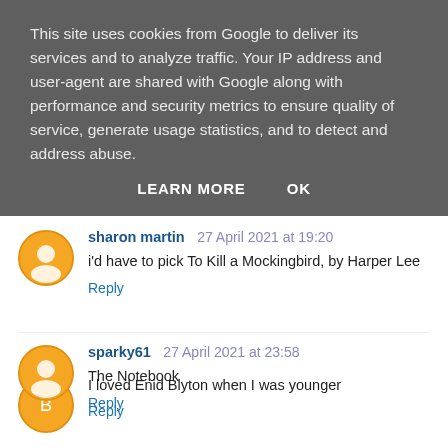This site uses cookies from Google to deliver its services and to analyze traffic. Your IP address and user-agent are shared with Google along with performance and security metrics to ensure quality of service, generate usage statistics, and to detect and address abuse.
LEARN MORE    OK
I loved Enid Blyton when I was younger
Reply
sharon martin  27 April 2021 at 19:20
i'd have to pick To Kill a Mockingbird, by Harper Lee
Reply
sparky61  27 April 2021 at 23:58
The Notebook
Reply